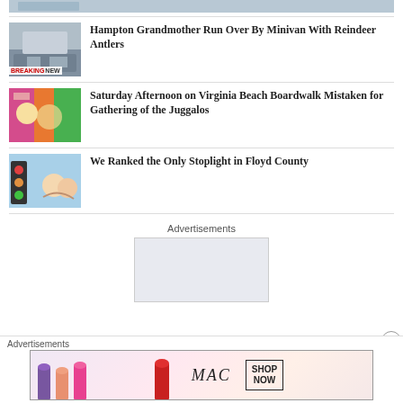[Figure (photo): Partial thumbnail image at top (cropped, partially visible)]
Hampton Grandmother Run Over By Minivan With Reindeer Antlers
[Figure (photo): Photo of colorful carnival/boardwalk scene with people]
Saturday Afternoon on Virginia Beach Boardwalk Mistaken for Gathering of the Juggalos
[Figure (photo): Photo showing a traffic stoplight and two young women taking a selfie]
We Ranked the Only Stoplight in Floyd County
Advertisements
[Figure (other): Empty grey advertisement box]
Advertisements
[Figure (other): MAC cosmetics advertisement showing lipsticks with SHOP NOW button]